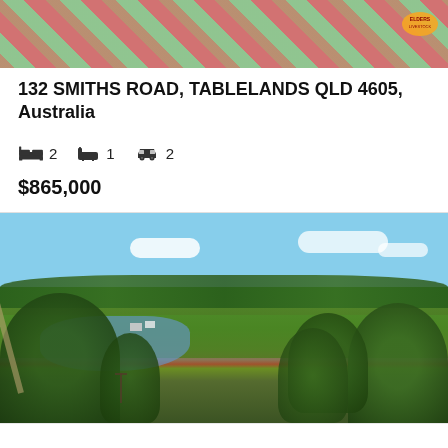[Figure (photo): Aerial/top-down view of rural property showing red earth, green trees, and a road with a Elders/livestock logo badge in top right corner]
132 SMITHS ROAD, TABLELANDS QLD 4605, Australia
2 bedrooms, 1 bathroom, 2 car spaces
$865,000
[Figure (photo): Aerial drone photo of rural property with dam/pond, green paddocks, eucalyptus trees, driveway, and farm buildings under partly cloudy blue sky]